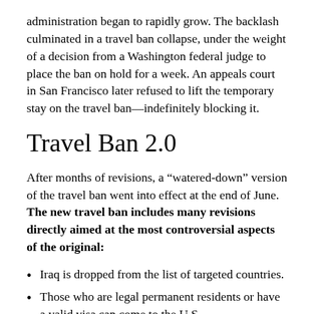administration began to rapidly grow. The backlash culminated in a travel ban collapse, under the weight of a decision from a Washington federal judge to place the ban on hold for a week. An appeals court in San Francisco later refused to lift the temporary stay on the travel ban—indefinitely blocking it.
Travel Ban 2.0
After months of revisions, a “watered-down” version of the travel ban went into effect at the end of June. The new travel ban includes many revisions directly aimed at the most controversial aspects of the original:
Iraq is dropped from the list of targeted countries.
Those who are legal permanent residents or have a valid visa can come to the U.S.